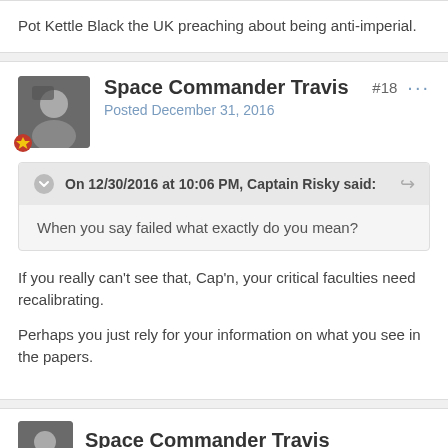Pot Kettle Black the UK preaching about being anti-imperial.
Space Commander Travis
Posted December 31, 2016
#18
On 12/30/2016 at 10:06 PM, Captain Risky said:
When you say failed what exactly do you mean?
If you really can't see that, Cap'n, your critical faculties need recalibrating.
Perhaps you just rely for your information on what you see in the papers.
Space Commander Travis